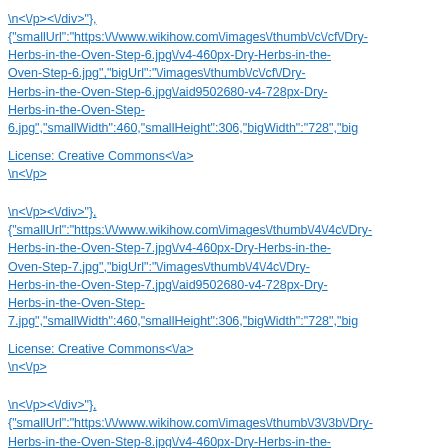\n<\/p><\/div>"},
{"smallUrl":"https:\/\/www.wikihow.com\/images\/thumb\/c\/cf\/Dry-Herbs-in-the-Oven-Step-6.jpg\/v4-460px-Dry-Herbs-in-the-Oven-Step-6.jpg","bigUrl":"\/images\/thumb\/c\/cf\/Dry-Herbs-in-the-Oven-Step-6.jpg\/aid9502680-v4-728px-Dry-Herbs-in-the-Oven-Step-6.jpg","smallWidth":460,"smallHeight":306,"bigWidth":"728","big
License: Creative Commons<\/a>
\n<\/p>
\n<\/p><\/div>"},
{"smallUrl":"https:\/\/www.wikihow.com\/images\/thumb\/4\/4c\/Dry-Herbs-in-the-Oven-Step-7.jpg\/v4-460px-Dry-Herbs-in-the-Oven-Step-7.jpg","bigUrl":"\/images\/thumb\/4\/4c\/Dry-Herbs-in-the-Oven-Step-7.jpg\/aid9502680-v4-728px-Dry-Herbs-in-the-Oven-Step-7.jpg","smallWidth":460,"smallHeight":306,"bigWidth":"728","big
License: Creative Commons<\/a>
\n<\/p>
\n<\/p><\/div>"},
{"smallUrl":"https:\/\/www.wikihow.com\/images\/thumb\/3\/3b\/Dry-Herbs-in-the-Oven-Step-8.jpg\/v4-460px-Dry-Herbs-in-the-Oven-Step-8.jpg","bigUrl":"\/images\/thumb\/3\/3b\/Dry-Herbs-in-the-Oven-Step-8.jpg\/aid9502680-v4-728px-Dry-Herbs-in-the-Oven-Step-8.jpg","smallWidth":460,"smallHeight":306,"bigWidth":"728","big